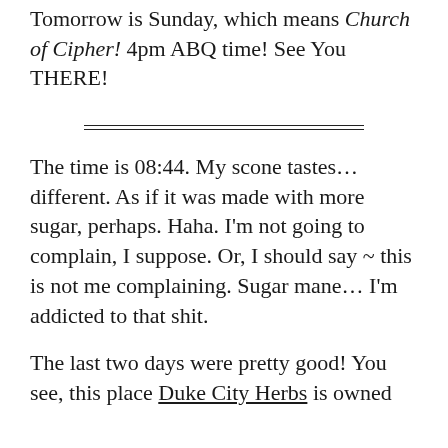Tomorrow is Sunday, which means Church of Cipher! 4pm ABQ time! See You THERE!
The time is 08:44. My scone tastes... different. As if it was made with more sugar, perhaps. Haha. I'm not going to complain, I suppose. Or, I should say ~ this is not me complaining. Sugar mane... I'm addicted to that shit.
The last two days were pretty good! You see, this place Duke City Herbs is owned